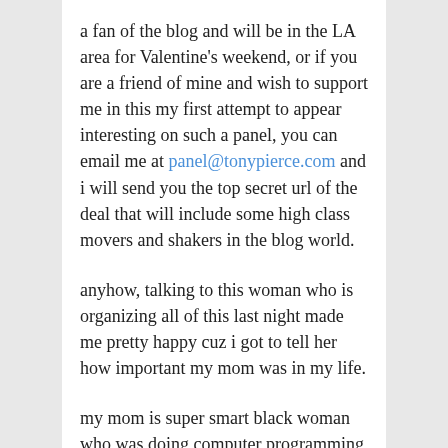a fan of the blog and will be in the LA area for Valentine's weekend, or if you are a friend of mine and wish to support me in this my first attempt to appear interesting on such a panel, you can email me at panel@tonypierce.com and i will send you the top secret url of the deal that will include some high class movers and shakers in the blog world.
anyhow, talking to this woman who is organizing all of this last night made me pretty happy cuz i got to tell her how important my mom was in my life.
my mom is super smart black woman who was doing computer programming starting way back in the late sixties. i got to tell the woman that im sure that she influenced me in